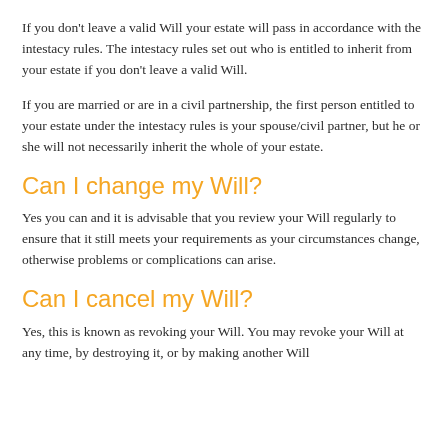If you don’t leave a valid Will your estate will pass in accordance with the intestacy rules. The intestacy rules set out who is entitled to inherit from your estate if you don’t leave a valid Will.
If you are married or are in a civil partnership, the first person entitled to your estate under the intestacy rules is your spouse/civil partner, but he or she will not necessarily inherit the whole of your estate.
Can I change my Will?
Yes you can and it is advisable that you review your Will regularly to ensure that it still meets your requirements as your circumstances change, otherwise problems or complications can arise.
Can I cancel my Will?
Yes, this is known as revoking your Will. You may revoke your Will at any time, by destroying it, or by making another Will